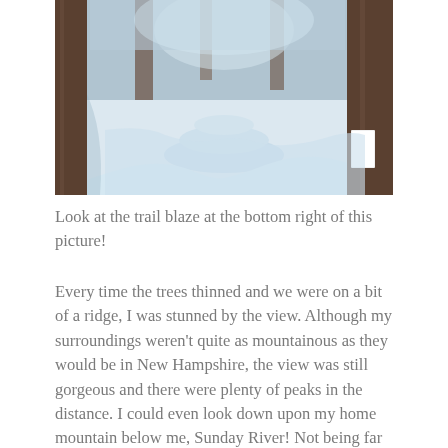[Figure (photo): A snowy winter trail through a forest of trees. The trail shows packed snow with tracks. A white rectangular trail blaze marker is visible on a tree trunk at the bottom right of the image.]
Look at the trail blaze at the bottom right of this picture!
Every time the trees thinned and we were on a bit of a ridge, I was stunned by the view. Although my surroundings weren't quite as mountainous as they would be in New Hampshire, the view was still gorgeous and there were plenty of peaks in the distance. I could even look down upon my home mountain below me, Sunday River! Not being far